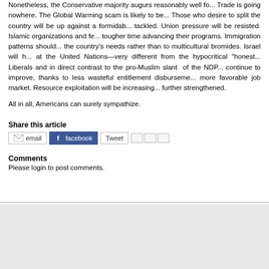Nonetheless, the Conservative majority augurs reasonably well fo... Trade is going nowhere. The Global Warming scam is likely to be... Those who desire to split the country will be up against a formidab... tackled. Union pressure will be resisted. Islamic organizations and fe... tougher time advancing their programs. Immigration patterns should... the country's needs rather than to multicultural bromides. Israel will h... at the United Nations—very different from the hypocritical "honest... Liberals and in direct contrast to the pro-Muslim slant of the NDP... continue to improve, thanks to less wasteful entitlement disburseme... more favorable job market. Resource exploitation will be increasing... further strengthened.
All in all, Americans can surely sympathize.
Share this article
Comments
Please login to post comments.